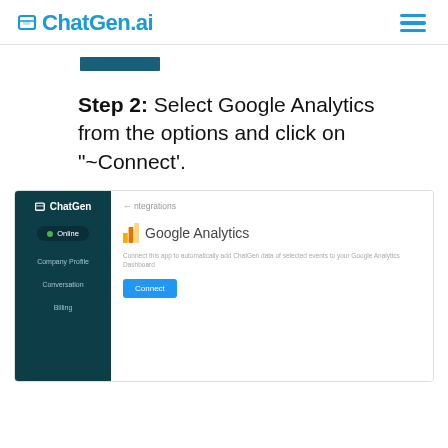ChatGen.ai
[Figure (screenshot): ChatGen.ai dashboard screenshot showing Google Analytics integration page with a sidebar navigation and a Connect button]
Step 2: Select Google Analytics from the options and click on "~Connect'.